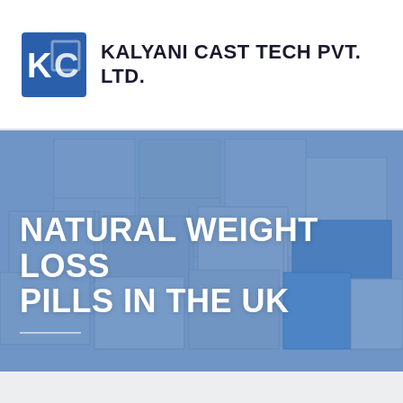[Figure (logo): Kalyani Cast Tech Pvt. Ltd. logo: KC letters in blue square with company name in bold dark text]
NATURAL WEIGHT LOSS PILLS IN THE UK
[Figure (photo): Stacked intermodal shipping containers with blue overlay tint]